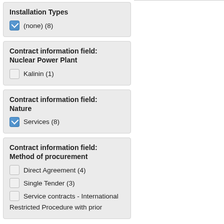Installation Types
(none) (8) — checked
Contract information field: Nuclear Power Plant
Kalinin (1) — unchecked
Contract information field: Nature
Services (8) — checked
Contract information field: Method of procurement
Direct Agreement (4) — unchecked
Single Tender (3) — unchecked
Service contracts - International — unchecked
Restricted Procedure with prior